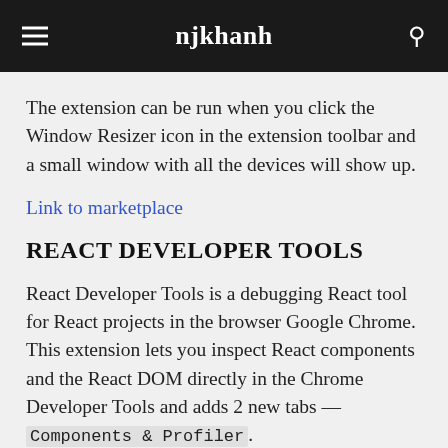njkhanh
The extension can be run when you click the Window Resizer icon in the extension toolbar and a small window with all the devices will show up.
Link to marketplace
REACT DEVELOPER TOOLS
React Developer Tools is a debugging React tool for React projects in the browser Google Chrome. This extension lets you inspect React components and the React DOM directly in the Chrome Developer Tools and adds 2 new tabs — Components & Profiler.